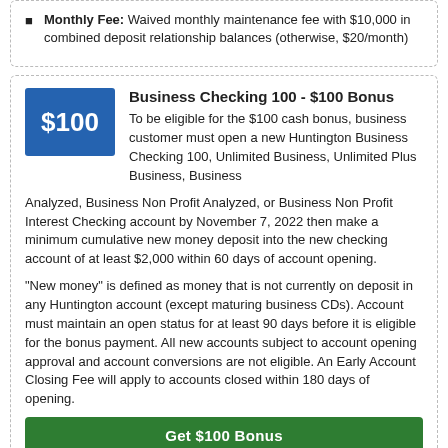Monthly Fee: Waived monthly maintenance fee with $10,000 in combined deposit relationship balances (otherwise, $20/month)
Business Checking 100 - $100 Bonus
To be eligible for the $100 cash bonus, business customer must open a new Huntington Business Checking 100, Unlimited Business, Unlimited Plus Business, Business Analyzed, Business Non Profit Analyzed, or Business Non Profit Interest Checking account by November 7, 2022 then make a minimum cumulative new money deposit into the new checking account of at least $2,000 within 60 days of account opening.
"New money" is defined as money that is not currently on deposit in any Huntington account (except maturing business CDs). Account must maintain an open status for at least 90 days before it is eligible for the bonus payment. All new accounts subject to account opening approval and account conversions are not eligible. An Early Account Closing Fee will apply to accounts closed within 180 days of opening.
Get $100 Bonus
EXPIRES 11/7/2022
Minimum Deposit to Open: None
Direct Deposit Required: No
Minimum Deposit Required: Make cumulative new money...